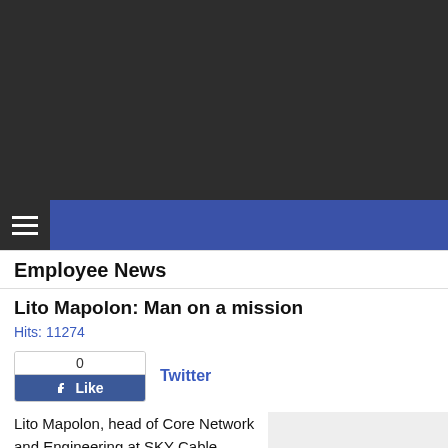[Figure (other): Dark header banner area at the top of the page]
Employee News
Lito Mapolon: Man on a mission
Hits: 11274
[Figure (other): Facebook Like button widget showing 0 likes, and Twitter link]
Lito Mapolon, head of Core Network and Engineering at SKY Cable Corporation, worked first in academe and then in manufacturing before finding his
[Figure (photo): Gray placeholder image area next to article text]